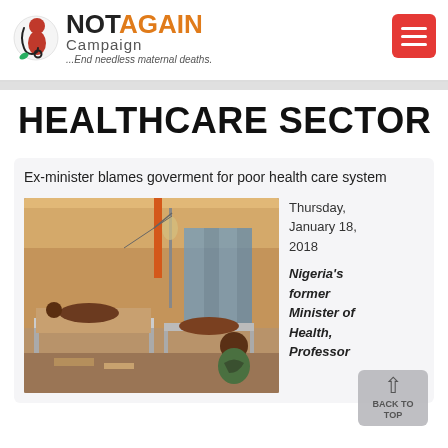[Figure (logo): Not Again Campaign logo with text '...End needless maternal deaths.']
HEALTHCARE SECTOR
Ex-minister blames goverment for poor health care system
[Figure (photo): Photo of a crowded hospital ward with patients on beds and medical equipment]
Thursday, January 18, 2018
Nigeria's former Minister of Health, Professor